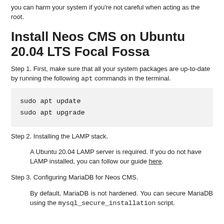you can harm your system if you're not careful when acting as the root.
Install Neos CMS on Ubuntu 20.04 LTS Focal Fossa
Step 1. First, make sure that all your system packages are up-to-date by running the following apt commands in the terminal.
sudo apt update
sudo apt upgrade
Step 2. Installing the LAMP stack.
A Ubuntu 20.04 LAMP server is required. If you do not have LAMP installed, you can follow our guide here.
Step 3. Configuring MariaDB for Neos CMS.
By default, MariaDB is not hardened. You can secure MariaDB using the mysql_secure_installation script.